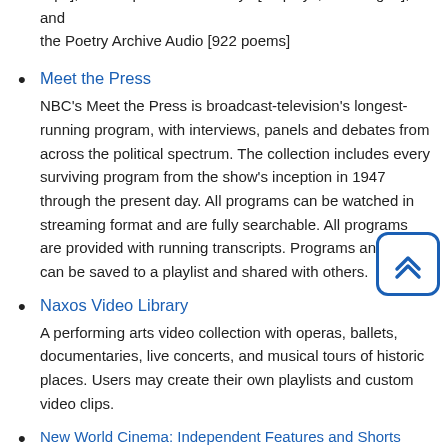clips], Shakespeare Audio Plays [30 plays, unabridged], and the Poetry Archive Audio [922 poems]
Meet the Press
NBC's Meet the Press is broadcast-television's longest-running program, with interviews, panels and debates from across the political spectrum. The collection includes every surviving program from the show's inception in 1947 through the present day. All programs can be watched in streaming format and are fully searchable. All programs are provided with running transcripts. Programs and clips can be saved to a playlist and shared with others.
Naxos Video Library
A performing arts video collection with operas, ballets, documentaries, live concerts, and musical tours of historic places. Users may create their own playlists and custom video clips.
New World Cinema: Independent Features and Shorts
The collection includes approximately 200 full-length feature films from leading independent distributors and cutting...